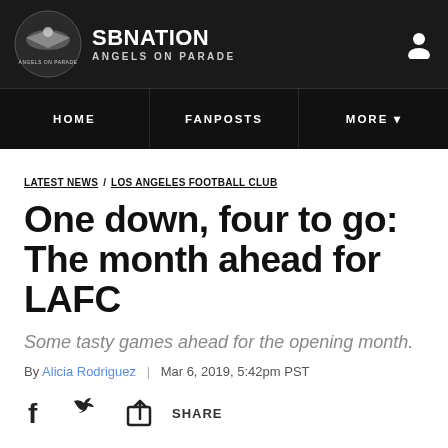SBNation Angels on Parade
HOME | FANPOSTS | MORE
LATEST NEWS LOS ANGELES FOOTBALL CLUB
One down, four to go: The month ahead for LAFC
Some tasty games ahead for the opening month.
By Alicia Rodriguez | Mar 6, 2019, 5:42pm PST
SHARE